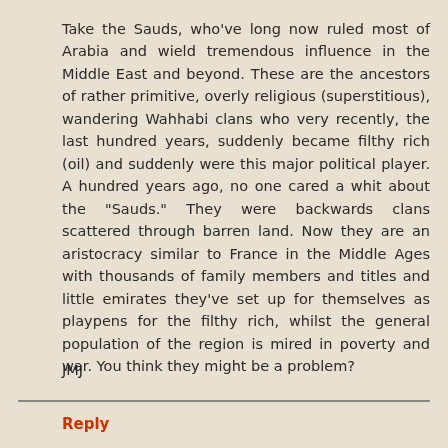Take the Sauds, who've long now ruled most of Arabia and wield tremendous influence in the Middle East and beyond. These are the ancestors of rather primitive, overly religious (superstitious), wandering Wahhabi clans who very recently, the last hundred years, suddenly became filthy rich (oil) and suddenly were this major political player. A hundred years ago, no one cared a whit about the "Sauds." They were backwards clans scattered through barren land. Now they are an aristocracy similar to France in the Middle Ages with thousands of family members and titles and little emirates they've set up for themselves as playpens for the filthy rich, whilst the general population of the region is mired in poverty and war. You think they might be a problem?
JMJ
Reply